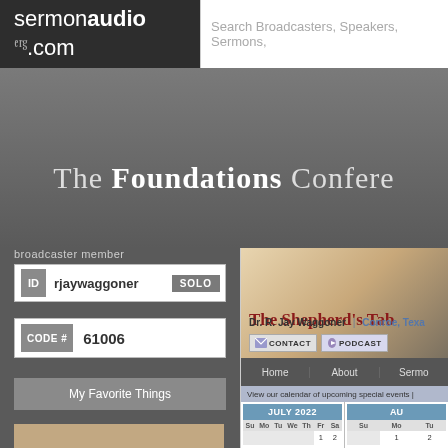[Figure (screenshot): SermonAudio.com website screenshot showing broadcaster member login panel on the left with ID 'rjaywaggoner' and CODE# 61006, My Favorite Things section with MyLocal and MyChurch logos, and The Shepherd's Table church page on the right with July 2022 and August 2022 calendars, navigation bar, and contact/podcast buttons for Dr. R. Jay Waggoner in Conroe, Texas.]